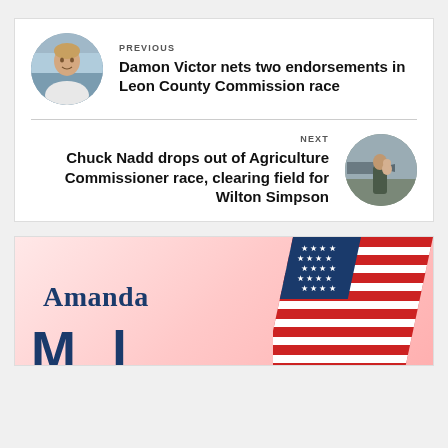PREVIOUS
Damon Victor nets two endorsements in Leon County Commission race
NEXT
Chuck Nadd drops out of Agriculture Commissioner race, clearing field for Wilton Simpson
[Figure (photo): Circular headshot of a man in a white shirt, smiling, with a building background — associated with the previous article about Damon Victor.]
[Figure (photo): Circular photo of a person in military uniform holding a baby on an airfield — associated with the next article about Chuck Nadd.]
[Figure (logo): Advertisement for Amanda — pink gradient background with 'Amanda' text in dark blue serif font, large bold dark blue letters partially visible at the bottom, overlaid with an American flag graphic (red, white, blue stripes and stars).]